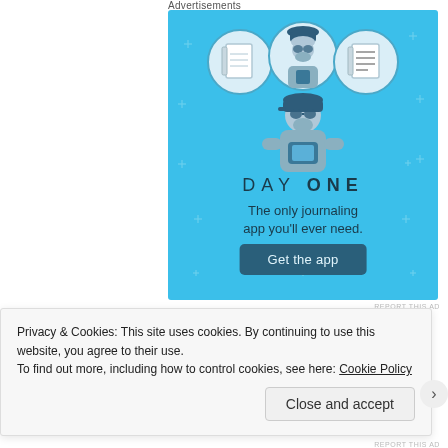Advertisements
[Figure (illustration): Day One journaling app advertisement. Light blue background with small plus/star decorations. Three circular icons at top showing a blank notebook, a person looking at phone wearing a cap, and a ruled notepad. Below is an illustration of a person holding a phone. Text reads 'DAY ONE' in spaced letters, 'The only journaling app you'll ever need.' and a dark teal 'Get the app' button.]
REPORT THIS AD
SHARE THIS:
Privacy & Cookies: This site uses cookies. By continuing to use this website, you agree to their use.
To find out more, including how to control cookies, see here: Cookie Policy
Close and accept